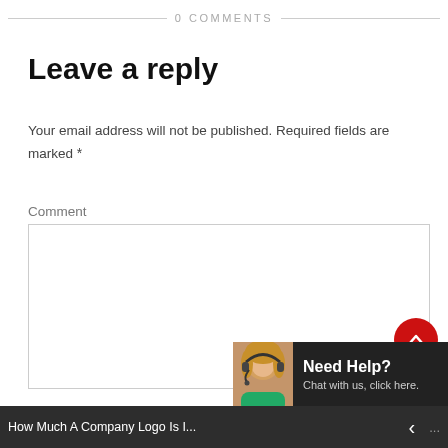0 COMMENTS
Leave a reply
Your email address will not be published. Required fields are marked *
Comment
Name *
How Much A Company Logo Is I...
[Figure (screenshot): Chat widget with a woman wearing a headset and text 'Need Help? Chat with us, click here.']